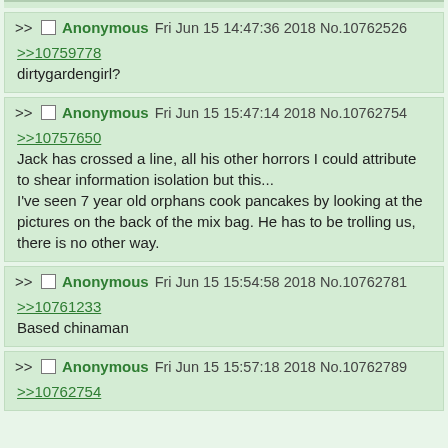>> Anonymous Fri Jun 15 14:47:36 2018 No.10762526
>>10759778
dirtygardengirl?
>> Anonymous Fri Jun 15 15:47:14 2018 No.10762754
>>10757650
Jack has crossed a line, all his other horrors I could attribute to shear information isolation but this...
I've seen 7 year old orphans cook pancakes by looking at the pictures on the back of the mix bag. He has to be trolling us, there is no other way.
>> Anonymous Fri Jun 15 15:54:58 2018 No.10762781
>>10761233
Based chinaman
>> Anonymous Fri Jun 15 15:57:18 2018 No.10762789
>>10762754